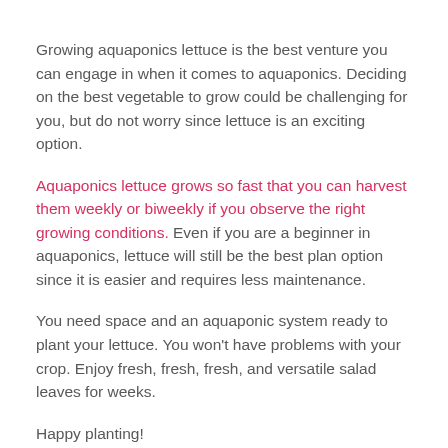Growing aquaponics lettuce is the best venture you can engage in when it comes to aquaponics. Deciding on the best vegetable to grow could be challenging for you, but do not worry since lettuce is an exciting option.
Aquaponics lettuce grows so fast that you can harvest them weekly or biweekly if you observe the right growing conditions. Even if you are a beginner in aquaponics, lettuce will still be the best plan option since it is easier and requires less maintenance.
You need space and an aquaponic system ready to plant your lettuce. You won’t have problems with your crop. Enjoy fresh, fresh, fresh, and versatile salad leaves for weeks.
Happy planting!